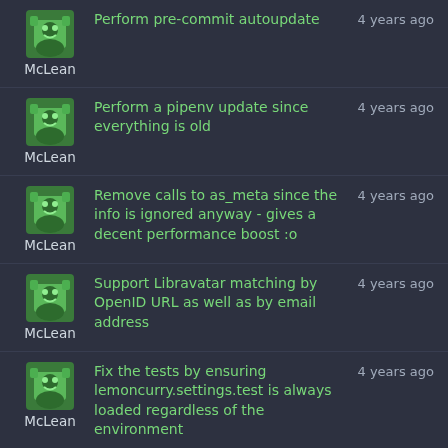Danielle McLean — Perform pre-commit autoupdate — 4 years ago
Danielle McLean — Perform a pipenv update since everything is old — 4 years ago
Danielle McLean — Remove calls to as_meta since the info is ignored anyway - gives a decent performance boost :o — 4 years ago
Danielle McLean — Support Libravatar matching by OpenID URL as well as by email address — 4 years ago
Danielle McLean — Fix the tests by ensuring lemoncurry.settings.test is always loaded regardless of the environment — 4 years ago